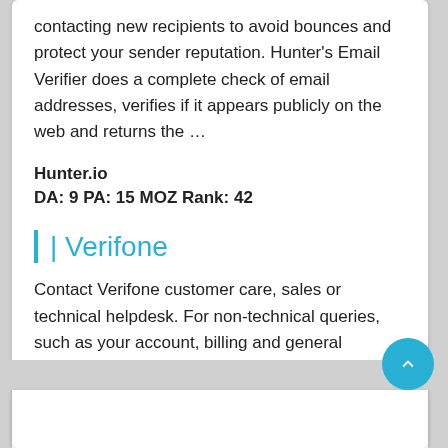contacting new recipients to avoid bounces and protect your sender reputation. Hunter's Email Verifier does a complete check of email addresses, verifies if it appears publicly on the web and returns the …
Hunter.io
DA: 9 PA: 15 MOZ Rank: 42
| Verifone
Contact Verifone customer care, sales or technical helpdesk. For non-technical queries, such as your account, billing and general enquries etc
Verifone.com
DA: 16 PA: 21 MOZ Rank: 56